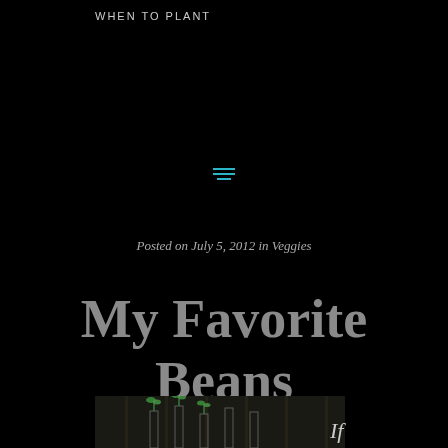WHEN TO PLANT
Posted on July 5, 2012 in Veggies
My Favorite Beans
[Figure (photo): Seedling plants in small glass containers or test tubes, dark background]
If